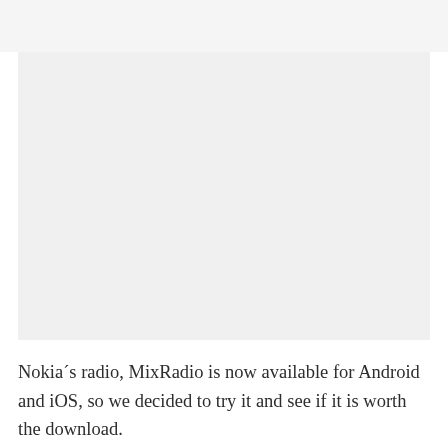[Figure (photo): Large light grey rectangular placeholder image area]
Nokia´s radio, MixRadio is now available for Android and iOS, so we decided to try it and see if it is worth the download.